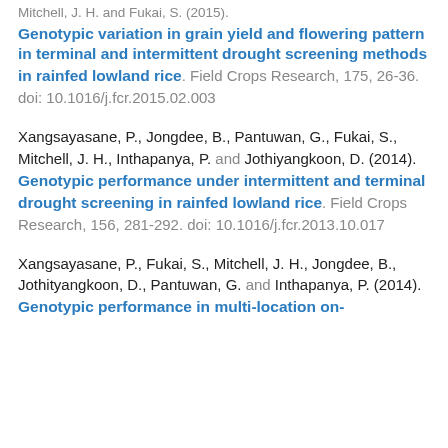Mitchell, J. H. and Fukai, S. (2015).
Genotypic variation in grain yield and flowering pattern in terminal and intermittent drought screening methods in rainfed lowland rice. Field Crops Research, 175, 26-36. doi: 10.1016/j.fcr.2015.02.003
Xangsayasane, P., Jongdee, B., Pantuwan, G., Fukai, S., Mitchell, J. H., Inthapanya, P. and Jothiyangkoon, D. (2014). Genotypic performance under intermittent and terminal drought screening in rainfed lowland rice. Field Crops Research, 156, 281-292. doi: 10.1016/j.fcr.2013.10.017
Xangsayasane, P., Fukai, S., Mitchell, J. H., Jongdee, B., Jothityangkoon, D., Pantuwan, G. and Inthapanya, P. (2014). Genotypic performance in multi-location on-...